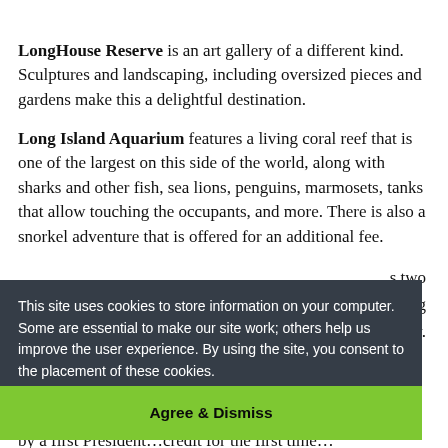LongHouse Reserve is an art gallery of a different kind. Sculptures and landscaping, including oversized pieces and gardens make this a delightful destination.
Long Island Aquarium features a living coral reef that is one of the largest on this side of the world, along with sharks and other fish, sea lions, penguins, marmosets, tanks that allow touching the occupants, and more. There is also a snorkel adventure that is offered for an additional fee.
…s two …nting …enjoy.
[Figure (screenshot): Cookie consent banner overlay with dark background (#353d47) displaying: 'This site uses cookies to store information on your computer. Some are essential to make our site work; others help us improve the user experience. By using the site, you consent to the placement of these cookies.' with a green 'Agree & Dismiss' button at the bottom.]
…commissioned …first President…credit for the first time…